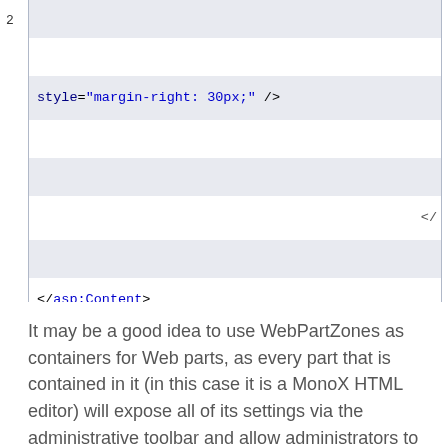[Figure (screenshot): Code editor screenshot showing XML/ASP.NET markup. Line number '2' visible at top left. Line showing: style="margin-right: 30px;" />. A shaded row with partial '</'. Final line showing: </asp:Content>]
It may be a good idea to use WebPartZones as containers for Web parts, as every part that is contained in it (in this case it is a MonoX HTML editor) will expose all of its settings via the administrative toolbar and allow administrators to perform interactive personalization. It is not obligatory and it is not used in this simple